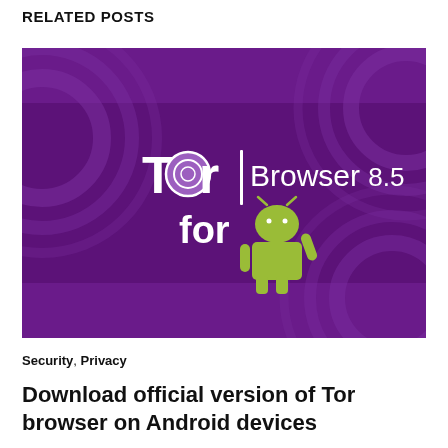RELATED POSTS
[Figure (illustration): Promotional banner image with purple background showing the Tor Browser 8.5 logo and text, with the Android mascot (green robot) below the text 'for'. Circular concentric ring patterns visible in the background corners.]
Security, Privacy
Download official version of Tor browser on Android devices